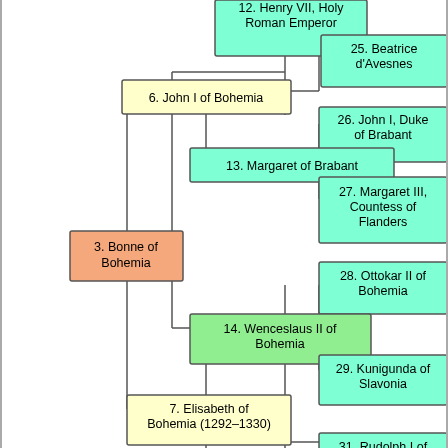[Figure (organizational-chart): Genealogical/family tree chart showing ancestors of Bonne of Bohemia, numbered nodes including Henry VII Holy Roman Emperor (12), Beatrice d'Avesnes (25), John I of Bohemia (6), John I Duke of Brabant (26), Margaret of Brabant (13), Margaret III Countess of Flanders (27), Bonne of Bohemia (3), Ottokar II of Bohemia (28), Wenceslaus II of Bohemia (14), Kunigunda of Slavonia (29), Elisabeth of Bohemia 1292-1330 (7), Rudolph I of (31, partial)]